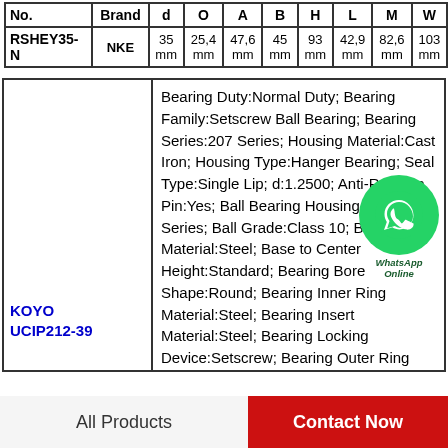| No. | Brand | d | O | A | B | H | L | M | W |
| --- | --- | --- | --- | --- | --- | --- | --- | --- | --- |
| RSHEY35-N | NKE | 35 mm | 25,4 mm | 47,6 mm | 45 mm | 93 mm | 42,9 mm | 82,6 mm | 103 mm |
|  |  |
| --- | --- |
| KOYO UCIP212-39 | Bearing Duty:Normal Duty; Bearing Family:Setscrew Ball Bearing; Bearing Series:207 Series; Housing Material:Cast Iron; Housing Type:Hanger Bearing; Seal Type:Single Lip; d:1.2500; Anti-Rotation Pin:Yes; Ball Bearing Housing Series:207 Series; Ball Grade:Class 10; Ball Material:Steel; Base to Center Height:Standard; Bearing Bore Shape:Round; Bearing Inner Ring Material:Steel; Bearing Insert Material:Steel; Bearing Locking Device:Setscrew; Bearing Outer Ring Material:Steel; End Cap Cover:No... |
All Products    Contact Now